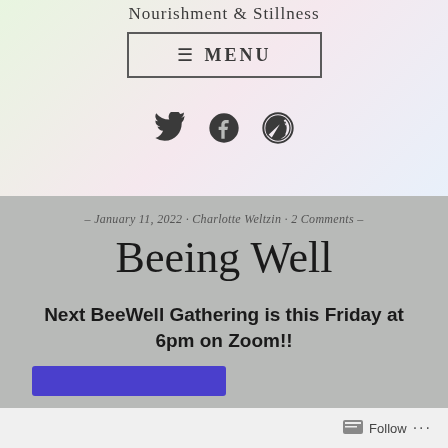Nourishment & Stillness
[Figure (screenshot): MENU button with hamburger icon, bordered rectangle]
[Figure (screenshot): Social media icons: Twitter bird, Facebook f-circle, WordPress circle]
– January 11, 2022 · Charlotte Weltzin · 2 Comments –
Beeing Well
Next BeeWell Gathering is this Friday at 6pm on Zoom!!
[Figure (screenshot): Partial blue/purple button at bottom]
Follow